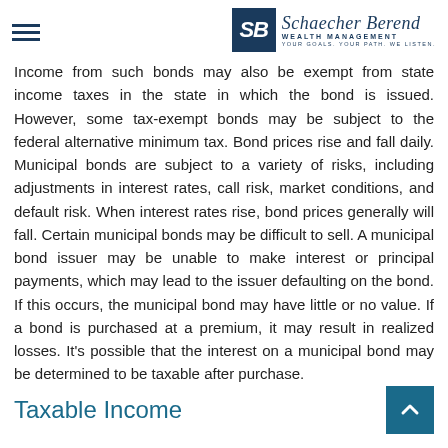Schaecher Berend Wealth Management — YOUR GOALS. YOUR PATH. WE LISTEN.
Income from such bonds may also be exempt from state income taxes in the state in which the bond is issued. However, some tax-exempt bonds may be subject to the federal alternative minimum tax. Bond prices rise and fall daily. Municipal bonds are subject to a variety of risks, including adjustments in interest rates, call risk, market conditions, and default risk. When interest rates rise, bond prices generally will fall. Certain municipal bonds may be difficult to sell. A municipal bond issuer may be unable to make interest or principal payments, which may lead to the issuer defaulting on the bond. If this occurs, the municipal bond may have little or no value. If a bond is purchased at a premium, it may result in realized losses. It's possible that the interest on a municipal bond may be determined to be taxable after purchase.
Taxable Income